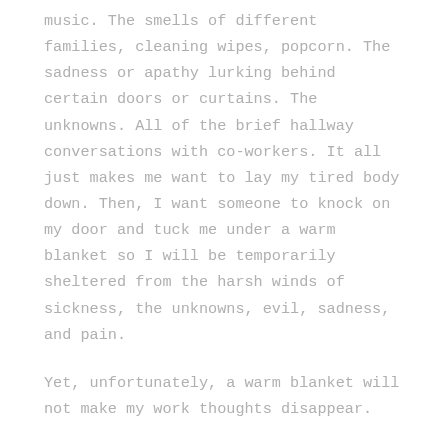music. The smells of different families, cleaning wipes, popcorn. The sadness or apathy lurking behind certain doors or curtains. The unknowns. All of the brief hallway conversations with co-workers. It all just makes me want to lay my tired body down. Then, I want someone to knock on my door and tuck me under a warm blanket so I will be temporarily sheltered from the harsh winds of sickness, the unknowns, evil, sadness, and pain.
Yet, unfortunately, a warm blanket will not make my work thoughts disappear.
After crazy weekends, there are far too many of my thoughts and feelings seemingly waiting loudly